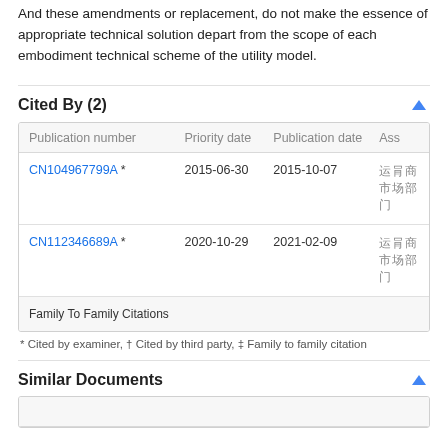And these amendments or replacement, do not make the essence of appropriate technical solution depart from the scope of each embodiment technical scheme of the utility model.
Cited By (2)
| Publication number | Priority date | Publication date | Assignee |
| --- | --- | --- | --- |
| CN104967799A * | 2015-06-30 | 2015-10-07 | 运营商市场部门 |
| CN112346689A * | 2020-10-29 | 2021-02-09 | 运营商市场部门 |
| Family To Family Citations |  |  |  |
* Cited by examiner, † Cited by third party, ‡ Family to family citation
Similar Documents